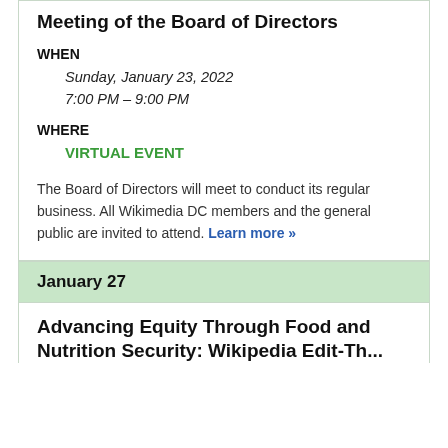Meeting of the Board of Directors
WHEN
Sunday, January 23, 2022
7:00 PM – 9:00 PM
WHERE
VIRTUAL EVENT
The Board of Directors will meet to conduct its regular business. All Wikimedia DC members and the general public are invited to attend. Learn more »
January 27
Advancing Equity Through Food and Nutrition Security: Wikipedia Edit-Th...